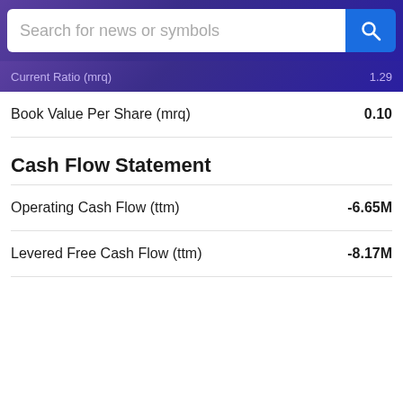[Figure (screenshot): Search bar with placeholder text 'Search for news or symbols' on a purple gradient background, with a blue search button]
Current Ratio (mrq)   1.29
|  |  |
| --- | --- |
| Book Value Per Share (mrq) | 0.10 |
Cash Flow Statement
|  |  |
| --- | --- |
| Operating Cash Flow (ttm) | -6.65M |
| Levered Free Cash Flow (ttm) | -8.17M |